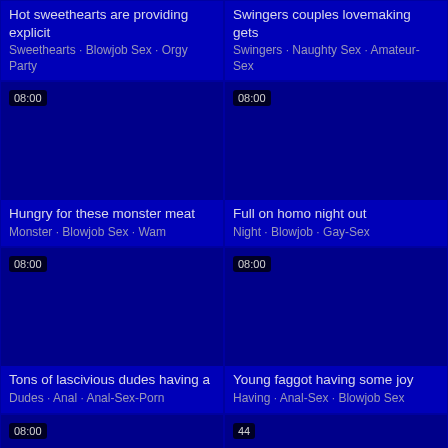Hot sweethearts are providing explicit
Sweethearts · Blowjob Sex · Orgy Party
Swingers couples lovemaking gets
Swingers · Naughty Sex · Amateur-Sex
[Figure (screenshot): Video thumbnail with 08:00 badge, dark blue background]
Hungry for these monster meat
Monster · Blowjob Sex · Wam
[Figure (screenshot): Video thumbnail with 08:00 badge, dark blue background]
Full on homo night out
Night · Blowjob · Gay-Sex
[Figure (screenshot): Video thumbnail with 08:00 badge, dark blue background]
Tons of lascivious dudes having a
Dudes · Anal · Anal-Sex-Porn
[Figure (screenshot): Video thumbnail with 08:00 badge, dark blue background]
Young faggot having some joy
Having · Anal-Sex · Blowjob Sex
[Figure (screenshot): Video thumbnail with 08:00 badge, dark blue background, partially visible]
[Figure (screenshot): Video thumbnail with 44 badge, dark blue background, partially visible]